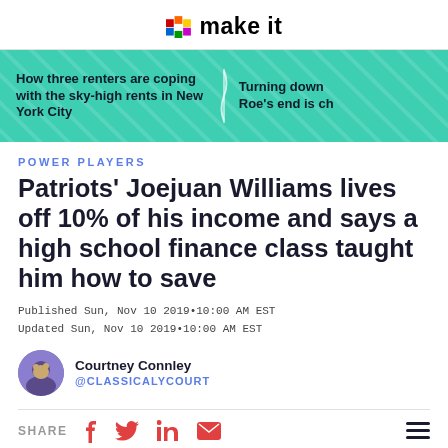CNBC make it
[Figure (infographic): Teal/green diagonal striped banner with two headline links: 'How three renters are coping with the sky-high rents in New York City' and 'Turning down Roe's end is ch']
POWER PLAYERS
Patriots' Joejuan Williams lives off 10% of his income and says a high school finance class taught him how to save
Published Sun, Nov 10 2019•10:00 AM EST
Updated Sun, Nov 10 2019•10:00 AM EST
Courtney Connley
@CLASSICALYCOURT
SHARE